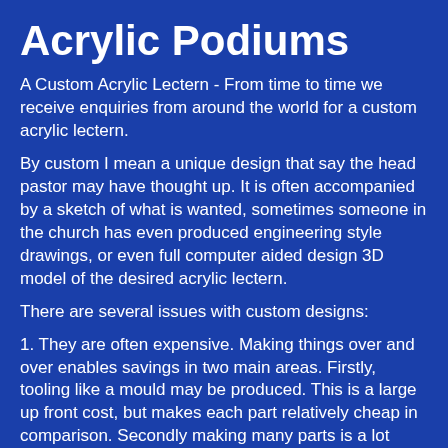Acrylic Podiums
A Custom Acrylic Lectern - From time to time we receive enquiries from around the world for a custom acrylic lectern.
By custom I mean a unique design that say the head pastor may have thought up. It is often accompanied by a sketch of what is wanted, sometimes someone in the church has even produced engineering style drawings, or even full computer aided design 3D model of the desired acrylic lectern.
There are several issues with custom designs:
1. They are often expensive. Making things over and over enables savings in two main areas. Firstly, tooling like a mould may be produced. This is a large up front cost, but makes each part relatively cheap in comparison. Secondly making many parts is a lot cheaper than making one offs. For example in most cases a set up cost is required. If the run is only 1 part, this will only be the collection to overcome. If the run is only 1 part,